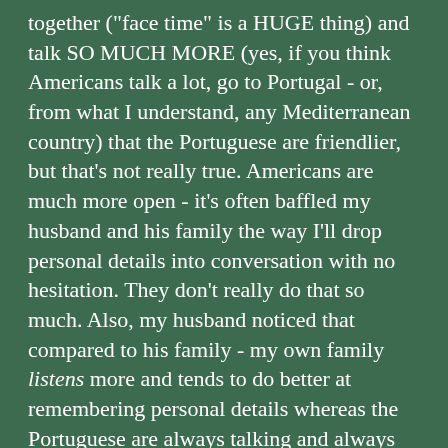together ("face time" is a HUGE thing) and talk SO MUCH MORE (yes, if you think Americans talk a lot, go to Portugal - or, from what I understand, any Mediterranean country) that the Portuguese are friendlier, but that's not really true. Americans are much more open - it's often baffled my husband and his family the way I'll drop personal details into conversation with no hesitation. They don't really do that so much. Also, my husband noticed that compared to his family - my own family listens more and tends to do better at remembering personal details whereas the Portuguese are always talking and always spending time together, but don't necessarily remember that thing you did last week.
To sum up very briefly: Americans are much more trusting and much more open than the Portuguese, but spend much less time together in a family unit and don't value "face time" to the same degree.